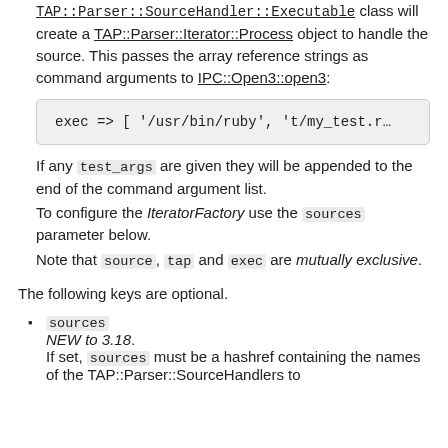TAP::Parser::SourceHandler::Executable class will create a TAP::Parser::Iterator::Process object to handle the source. This passes the array reference strings as command arguments to IPC::Open3::open3:
exec => [ '/usr/bin/ruby', 't/my_test.r
If any test_args are given they will be appended to the end of the command argument list.
To configure the IteratorFactory use the sources parameter below.
Note that source, tap and exec are mutually exclusive.
The following keys are optional.
sources
NEW to 3.18.
If set, sources must be a hashref containing the names of the TAP::Parser::SourceHandlers to